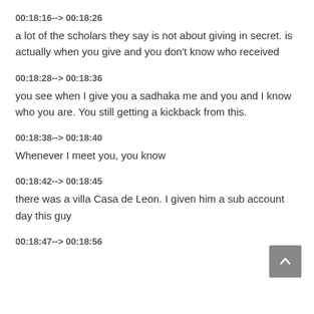00:18:16--> 00:18:26
a lot of the scholars they say is not about giving in secret. is actually when you give and you don't know who received
00:18:28--> 00:18:36
you see when I give you a sadhaka me and you and I know who you are. You still getting a kickback from this.
00:18:38--> 00:18:40
Whenever I meet you, you know
00:18:42--> 00:18:45
there was a villa Casa de Leon. I given him a sub account day this guy
00:18:47--> 00:18:56